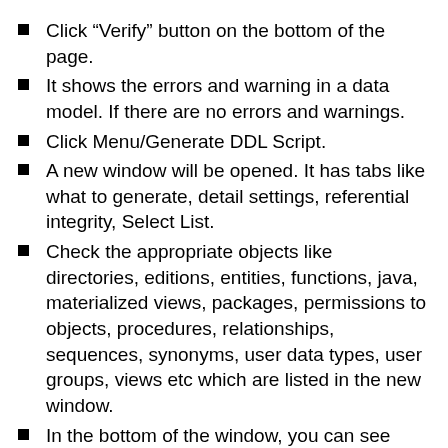Click “Verify” button on the bottom of the page.
It shows the errors and warning in a data model. If there are no errors and warnings.
Click Menu/Generate DDL Script.
A new window will be opened. It has tabs like what to generate, detail settings, referential integrity, Select List.
Check the appropriate objects like directories, editions, entities, functions, java, materialized views, packages, permissions to objects, procedures, relationships, sequences, synonyms, user data types, user groups, views etc which are listed in the new window.
In the bottom of the window, you can see buttons like Generate, Show Code, Show Log.
Click the button ‘Generate’. It will save the DDL scripts in a file under a folder. You can see